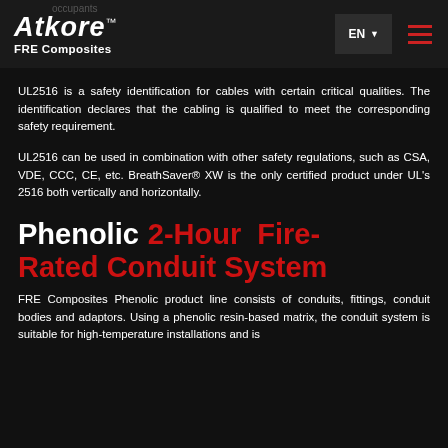Atkore FRE Composites
UL2516 is a safety identification for cables with certain critical qualities. The identification declares that the cabling is qualified to meet the corresponding safety requirement.
UL2516 can be used in combination with other safety regulations, such as CSA, VDE, CCC, CE, etc. BreathSaver® XW is the only certified product under UL's 2516 both vertically and horizontally.
Phenolic 2-Hour Fire-Rated Conduit System
FRE Composites Phenolic product line consists of conduits, fittings, conduit bodies and adaptors. Using a phenolic resin-based matrix, the conduit system is suitable for high-temperature installations and is